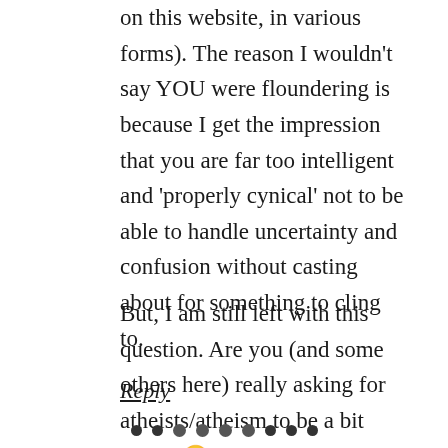on this website, in various forms). The reason I wouldn't say YOU were floundering is because I get the impression that you are far too intelligent and 'properly cynical' not to be able to handle uncertainty and confusion without casting about for something to cling to.
But, I am still left with this question. Are you (and some others here) really asking for atheists/atheism to be a bit nicer? 🙂
Reply